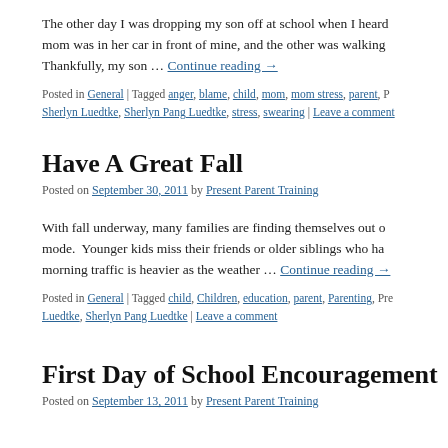The other day I was dropping my son off at school when I heard two moms arguing. One mom was in her car in front of mine, and the other was walking past my car. Thankfully, my son … Continue reading →
Posted in General | Tagged anger, blame, child, mom, mom stress, parent, Parenting, Sherlyn Luedtke, Sherlyn Pang Luedtke, stress, swearing | Leave a comment
Have A Great Fall
Posted on September 30, 2011 by Present Parent Training
With fall underway, many families are finding themselves out of summer vacation mode. Younger kids miss their friends or older siblings who have gone off to college, morning traffic is heavier as the weather … Continue reading →
Posted in General | Tagged child, Children, education, parent, Parenting, Present Parent Training, Sherlyn Pang Luedtke | Leave a comment
First Day of School Encouragement
Posted on September 13, 2011 by Present Parent Training